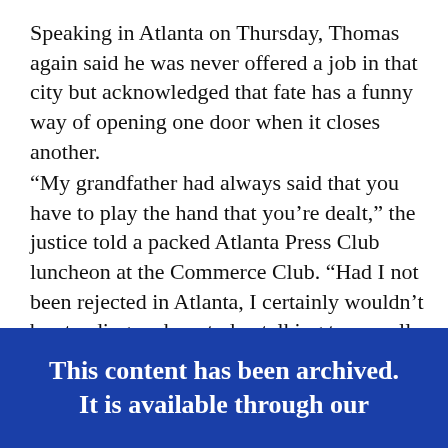Speaking in Atlanta on Thursday, Thomas again said he was never offered a job in that city but acknowledged that fate has a funny way of opening one door when it closes another.
“My grandfather had always said that you have to play the hand that you’re dealt,” the justice told a packed Atlanta Press Club luncheon at the Commerce Club. “Had I not been rejected in Atlanta, I certainly wouldn’t be standing up here today talking to you all. I’d probably be safely in a law firm someplace doing tax work.”
This content has been archived. It is available through our